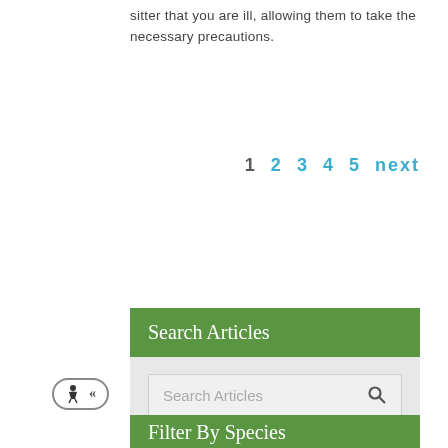sitter that you are ill, allowing them to take the necessary precautions.
1 2 3 4 5 next
Search Articles
Search Articles
Filter By Species
[Figure (screenshot): Three species filter icon buttons (cat, dog, bird) in a row with gray background.]
[Figure (infographic): Accessibility widget button with wheelchair icon and chevron in bottom-left corner.]